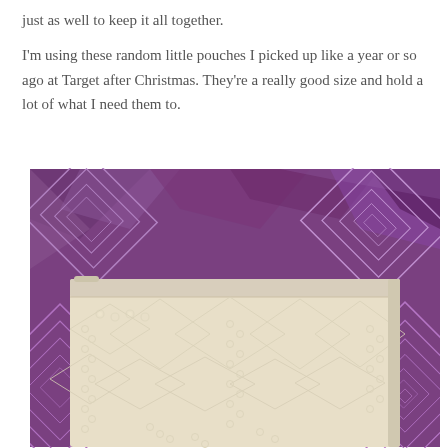just as well to keep it all together.

I'm using these random little pouches I picked up like a year or so ago at Target after Christmas.  They're a really good size and hold a lot of what I need them to.
[Figure (photo): A white sequined/lace decorative pouch lying on a purple patterned fabric background with geometric diamond designs. The pouch has an intricate beaded and sequined lace pattern in cream/white tones.]